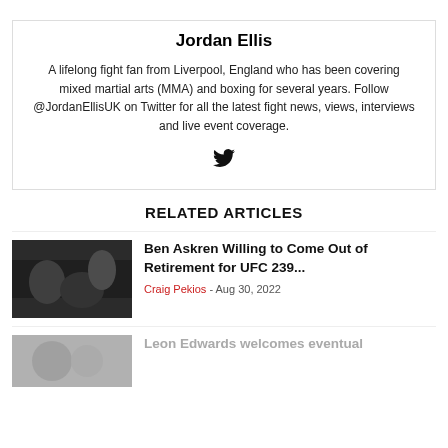Jordan Ellis
A lifelong fight fan from Liverpool, England who has been covering mixed martial arts (MMA) and boxing for several years. Follow @JordanEllisUK on Twitter for all the latest fight news, views, interviews and live event coverage.
[Figure (illustration): Twitter bird icon]
RELATED ARTICLES
[Figure (photo): MMA fighters in action, UFC event photo]
Ben Askren Willing to Come Out of Retirement for UFC 239...
Craig Pekios - Aug 30, 2022
[Figure (photo): Leon Edwards article thumbnail, grayscale]
Leon Edwards welcomes eventual